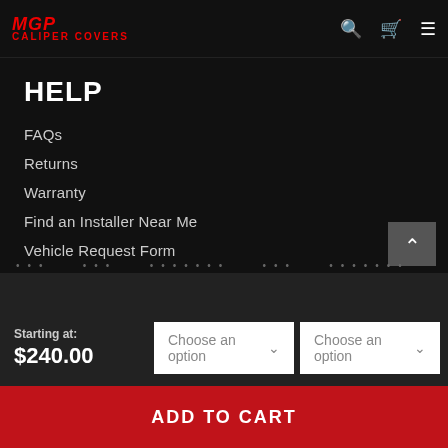MGP Caliper Covers
HELP
FAQs
Returns
Warranty
Find an Installer Near Me
Vehicle Request Form
ABOUT
Starting at: $240.00
Choose an option
Choose an option
ADD TO CART